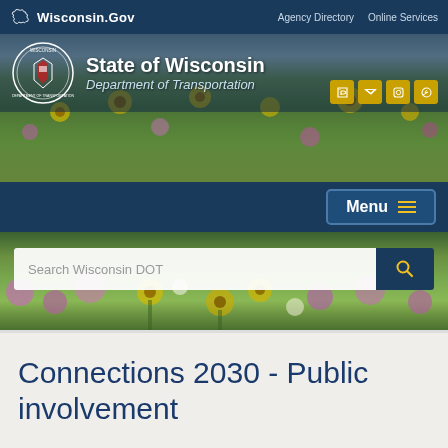Wisconsin.Gov | Agency Directory | Online Services
[Figure (screenshot): Wisconsin Department of Transportation website header with state seal, wildflower field photo, social media icons, menu button, and search bar]
Connections 2030 - Public involvement